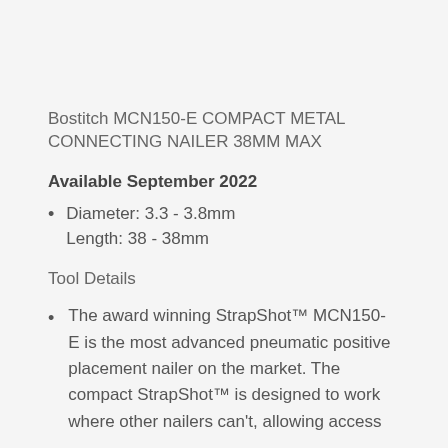Bostitch MCN150-E COMPACT METAL CONNECTING NAILER 38MM MAX
Available September 2022
Diameter: 3.3 - 3.8mm
Length: 38 - 38mm
Tool Details
The award winning StrapShot™ MCN150-E is the most advanced pneumatic positive placement nailer on the market. The compact StrapShot™ is designed to work where other nailers can't, allowing access